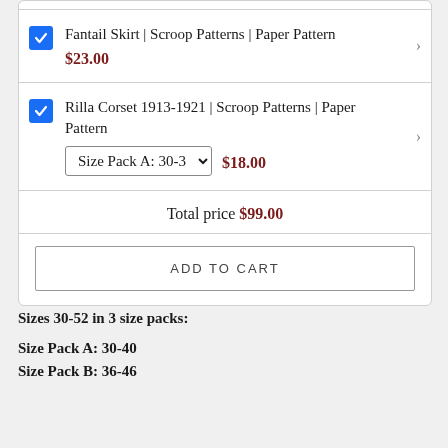| Fantail Skirt | Scroop Patterns | Paper Pattern | $23.00 |
| Rilla Corset 1913-1921 | Scroop Patterns | Paper Pattern | Size Pack A: 30-3... | $18.00 |
| Total price | $99.00 |
| ADD TO CART |  |
Sizes 30-52 in 3 size packs:
Size Pack A: 30-40
Size Pack B: 36-46